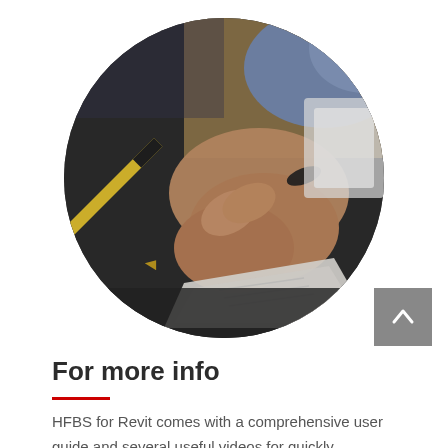[Figure (photo): Circular cropped photo of a person's hand holding a yellow pen and writing on paper on a dark desk, with a blurred background showing a blue sleeve and a bright white area.]
For more info
HFBS for Revit comes with a comprehensive user guide and several useful videos for quickly